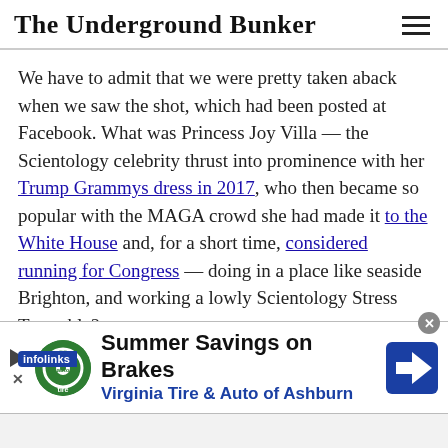The Underground Bunker
We have to admit that we were pretty taken aback when we saw the shot, which had been posted at Facebook. What was Princess Joy Villa — the Scientology celebrity thrust into prominence with her Trump Grammys dress in 2017, who then became so popular with the MAGA crowd she had made it to the White House and, for a short time, considered running for Congress — doing in a place like seaside Brighton, and working a lowly Scientology Stress Test table?
we wanted to learn the circumstances of the
[Figure (screenshot): Advertisement banner: Summer Savings on Brakes — Virginia Tire & Auto of Ashburn, with green tire logo and blue diamond navigation icon]